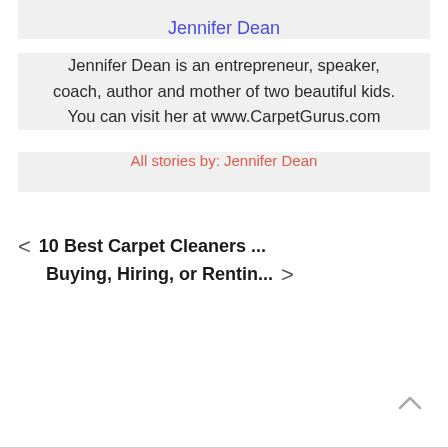Jennifer Dean
Jennifer Dean is an entrepreneur, speaker, coach, author and mother of two beautiful kids. You can visit her at www.CarpetGurus.com
All stories by: Jennifer Dean
< 10 Best Carpet Cleaners ... Buying, Hiring, or Rentin... >